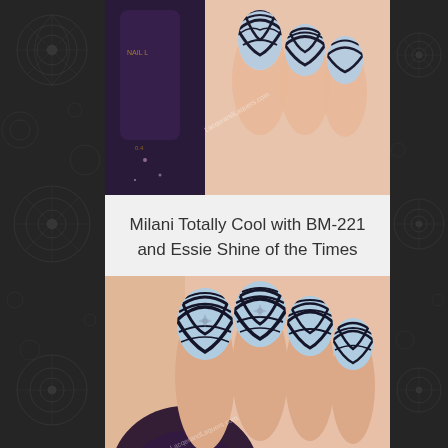[Figure (photo): Close-up photo of fingernails painted with Milani Totally Cool light blue base color and black BM-221 stamped zebra/geometric pattern, with a dark purple Milani nail polish bottle in the background. Watermark reads 'LacqerandLaquers.com'.]
Milani Totally Cool with BM-221 and Essie Shine of the Times
[Figure (photo): Close-up photo of fingernails painted with Milani Totally Cool light blue base and black BM-221 stamped geometric/zebra pattern, with a dark purple glitter Milani nail polish bottle in the foreground. Watermark reads 'LacqerandLaquers.com'. Bottom right reads 'cil la 2'.]